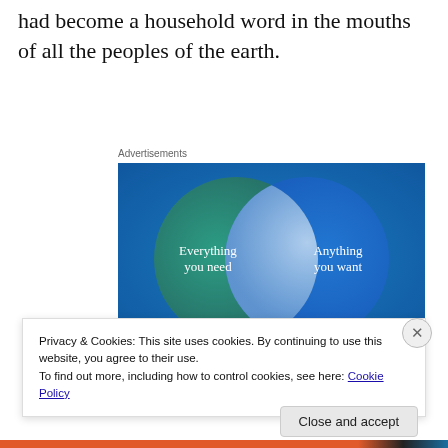had become a household word in the mouths of all the peoples of the earth.
Advertisements
[Figure (infographic): Venn diagram advertisement showing two overlapping circles on a teal-to-blue gradient background. Left circle (green/teal): 'Everything you need'. Right circle (blue): 'Anything you want'. Overlapping area is lighter blue/white.]
Privacy & Cookies: This site uses cookies. By continuing to use this website, you agree to their use.
To find out more, including how to control cookies, see here: Cookie Policy
Close and accept